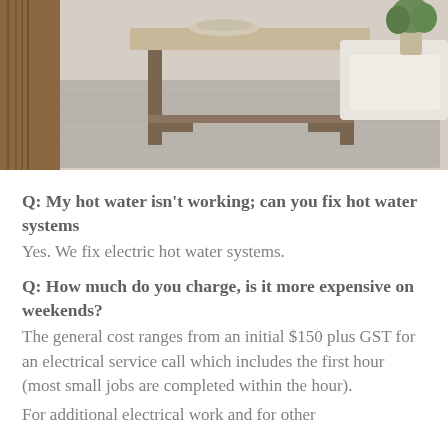[Figure (photo): Interior photo showing a rustic wooden coffee table on a grey rug in a living room setting, with a white sofa and plant in the background]
Q: My hot water isn't working; can you fix hot water systems
Yes. We fix electric hot water systems.
Q: How much do you charge, is it more expensive on weekends?
The general cost ranges from an initial $150 plus GST for an electrical service call which includes the first hour (most small jobs are completed within the hour).
For additional electrical work and for other